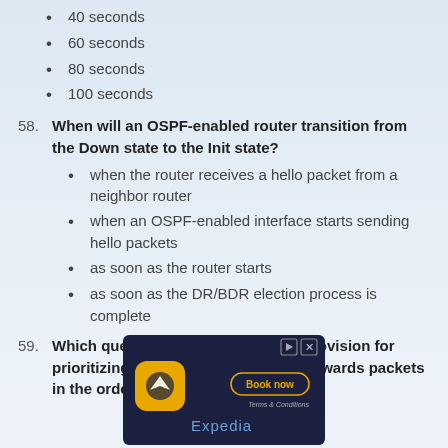40 seconds
60 seconds
80 seconds
100 seconds
58. When will an OSPF-enabled router transition from the Down state to the Init state?
when the router receives a hello packet from a neighbor router
when an OSPF-enabled interface starts sending hello packets
as soon as the router starts
as soon as the DR/BDR election process is complete
59. Which queuing mechanism has no provision for prioritizing or buffering but simply forwards packets in the order they arrive?
[Figure (illustration): Expedia advertisement banner with yellow app icon, Book now button, and Terms & Conditions text on dark background]